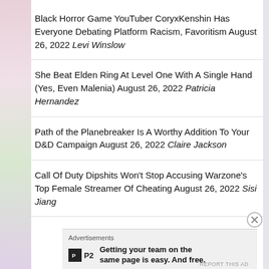Black Horror Game YouTuber CoryxKenshin Has Everyone Debating Platform Racism, Favoritism August 26, 2022 Levi Winslow
She Beat Elden Ring At Level One With A Single Hand (Yes, Even Malenia) August 26, 2022 Patricia Hernandez
Path of the Planebreaker Is A Worthy Addition To Your D&D Campaign August 26, 2022 Claire Jackson
Call Of Duty Dipshits Won't Stop Accusing Warzone's Top Female Streamer Of Cheating August 26, 2022 Sisi Jiang
Advertisements
[Figure (other): P2 advertisement: logo with P2 text and tagline 'Getting your team on the same page is easy. And free.']